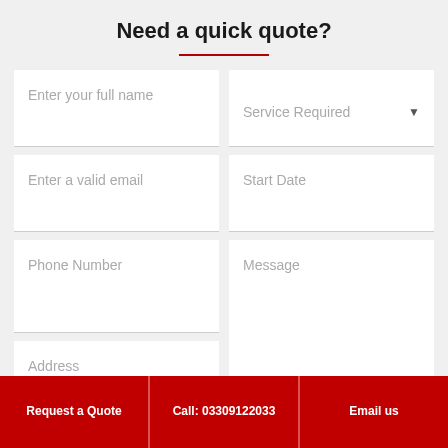Need a quick quote?
Enter your full name
Service Required
Enter a valid email
Start Date
Phone Number
Message
Address
7 + 11 =
Submit
Request a Quote | Call: 03309122033 | Email us